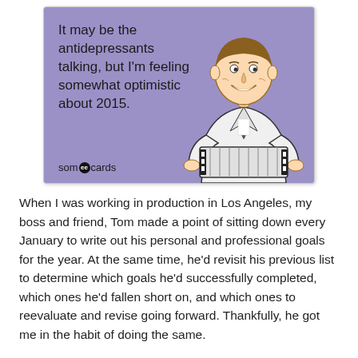[Figure (illustration): A someecards-style greeting card with a purple/lavender background featuring a retro clip-art man playing an accordion. Text reads: 'It may be the antidepressants talking, but I'm feeling somewhat optimistic about 2015.' Logo at bottom left reads 'someecards'.]
When I was working in production in Los Angeles, my boss and friend, Tom made a point of sitting down every January to write out his personal and professional goals for the year. At the same time, he'd revisit his previous list to determine which goals he'd successfully completed, which ones he'd fallen short on, and which ones to reevaluate and revise going forward. Thankfully, he got me in the habit of doing the same.
Now, I'm great at writing down my goals for the year, but I have to admit, I kind of suck at looking